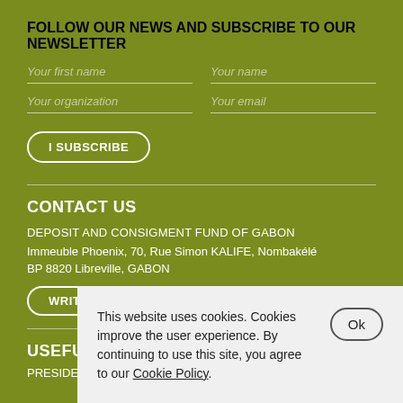FOLLOW OUR NEWS AND SUBSCRIBE TO OUR NEWSLETTER
Your first name
Your name
Your organization
Your email
I SUBSCRIBE
CONTACT US
DEPOSIT AND CONSIGMENT FUND OF GABON
Immeuble Phoenix, 70, Rue Simon KALIFE, Nombakélé
BP 8820 Libreville, GABON
WRITE US
USEFUL LIN…
PRESIDENCY…
This website uses cookies. Cookies improve the user experience. By continuing to use this site, you agree to our Cookie Policy.
Ok